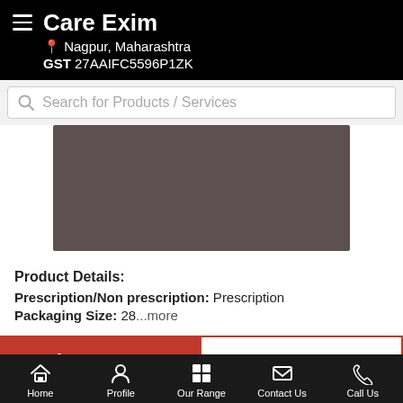Care Exim — Nagpur, Maharashtra — GST 27AAIFC5596P1ZK
Search for Products / Services
[Figure (photo): Product image placeholder — dark brownish-grey rectangle]
Product Details:
Prescription/Non prescription: Prescription
Packaging Size: 28...more
Call Us
Get Details
Home | Profile | Our Range | Contact Us | Call Us